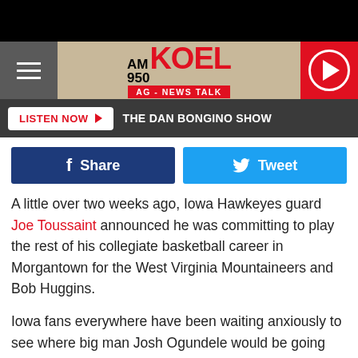[Figure (screenshot): AM 950 KOEL AG - NEWS TALK radio station website header with hamburger menu, logo, and play button]
[Figure (screenshot): LISTEN NOW button with THE DAN BONGINO SHOW text on dark bar]
[Figure (screenshot): Facebook Share and Twitter Tweet buttons]
A little over two weeks ago, Iowa Hawkeyes guard Joe Toussaint announced he was committing to play the rest of his collegiate basketball career in Morgantown for the West Virginia Mountaineers and Bob Huggins.
Iowa fans everywhere have been waiting anxiously to see where big man Josh Ogundele would be going next, as he entered the portal around the same time frame as Toussaint.
As it tu                                                from